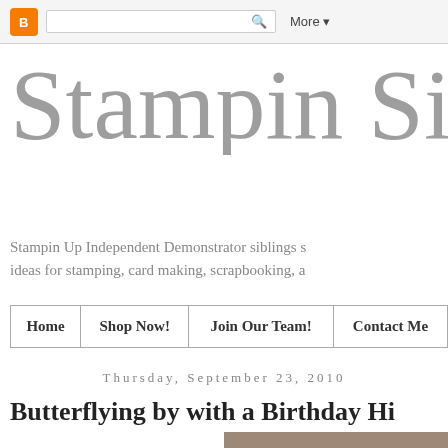Blogger navigation bar with search and More button
Stampin Sib
Stampin Up Independent Demonstrator siblings sharing ideas for stamping, card making, scrapbooking, a…
| Home | Shop Now! | Join Our Team! | Contact Me |
| --- | --- | --- | --- |
Thursday, September 23, 2010
Butterflying by with a Birthday Hi
[Figure (photo): Partial cropped image visible at bottom right corner of page]